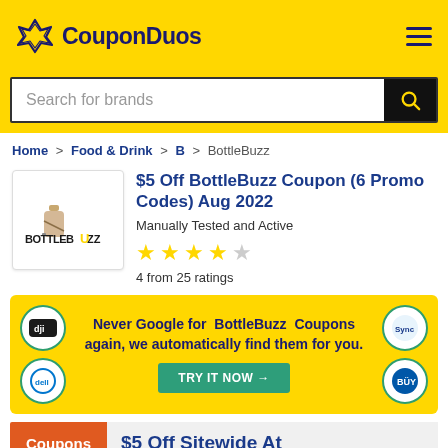CouponDuos
Search for brands
Home > Food & Drink > B > BottleBuzz
$5 Off BottleBuzz Coupon (6 Promo Codes) Aug 2022
Manually Tested and Active
4 from 25 ratings
Never Google for BottleBuzz Coupons again, we automatically find them for you. TRY IT NOW →
Coupons
$5 Off Sitewide At